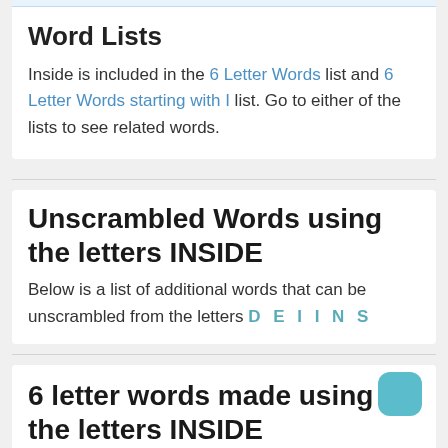Word Lists
Inside is included in the 6 Letter Words list and 6 Letter Words starting with I list. Go to either of the lists to see related words.
Unscrambled Words using the letters INSIDE
Below is a list of additional words that can be unscrambled from the letters D E I I N S
6 letter words made using the letters INSIDE